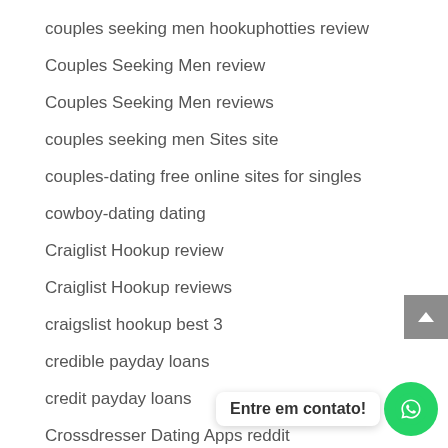couples seeking men hookuphotties review
Couples Seeking Men review
Couples Seeking Men reviews
couples seeking men Sites site
couples-dating free online sites for singles
cowboy-dating dating
Craiglist Hookup review
Craiglist Hookup reviews
craigslist hookup best 3
credible payday loans
credit payday loans
Crossdresser Dating Apps reddit
crossdresser-dating-nl Review
Entre em contato!